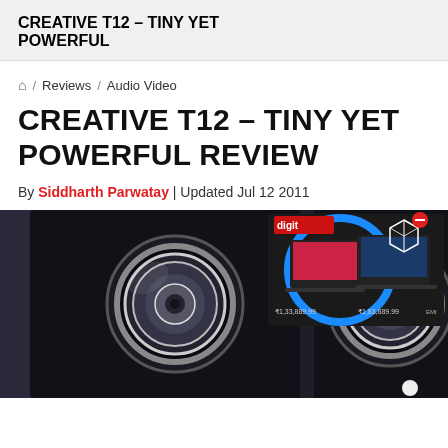CREATIVE T12 – TINY YET POWERFUL
🏠 / Reviews / Audio Video
CREATIVE T12 – TINY YET POWERFUL REVIEW
By Siddharth Parwatay | Updated Jul 12 2011
[Figure (photo): Close-up photo of two Creative T12 speakers showing the speaker drivers/cones in black, with an advertisement overlay in the top right corner showing a laptop product box with prices ₹1,33,889.99 and ₹1,83,889.99]